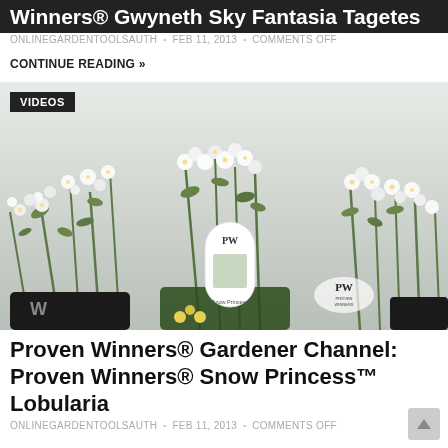Winners® Gwyneth Sky Fantasia Tagetes
ONLINEGARDENTOOLSAUTH • FEB 11, 2013 • COMMENTS OFF
CONTINUE READING »
[Figure (photo): Proven Winners Snow Princess Lobularia white flowers in green pot with PW plant tag, two branded containers visible]
Proven Winners® Gardener Channel: Proven Winners® Snow Princess™ Lobularia
ONLINEGARDENTOOLSAUTH • FEB 11, 2013 • COMMENTS OFF